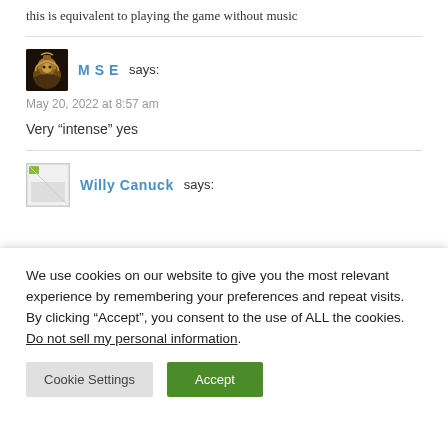this is equivalent to playing the game without music
M S E says:
May 20, 2022 at 8:57 am

Very “intense” yes
Willy Canuck says:
We use cookies on our website to give you the most relevant experience by remembering your preferences and repeat visits. By clicking “Accept”, you consent to the use of ALL the cookies.
Do not sell my personal information.